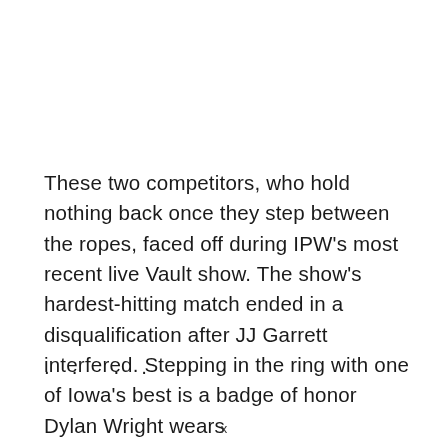These two competitors, who hold nothing back once they step between the ropes, faced off during IPW's most recent live Vault show. The show's hardest-hitting match ended in a disqualification after JJ Garrett interfered. Stepping in the ring with one of Iowa's best is a badge of honor Dylan Wright wears . . . . .
x